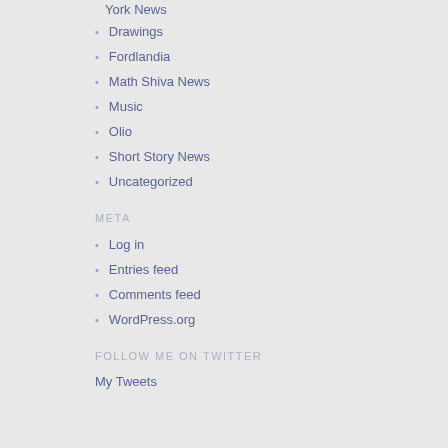York News
Drawings
Fordlandia
Math Shiva News
Music
Olio
Short Story News
Uncategorized
META
Log in
Entries feed
Comments feed
WordPress.org
FOLLOW ME ON TWITTER
My Tweets